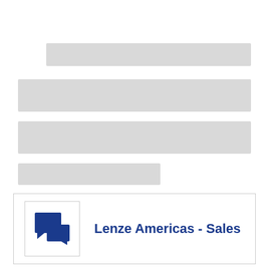[Figure (other): Four horizontal gray placeholder bars of varying widths stacked vertically]
[Figure (infographic): Info box with chat/communication icon and text 'Lenze Americas - Sales']